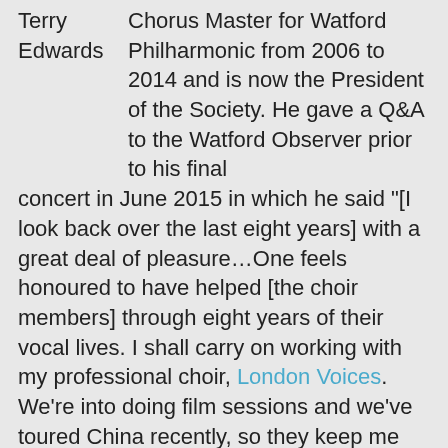Terry Edwards Chorus Master for Watford Philharmonic from 2006 to 2014 and is now the President of the Society. He gave a Q&A to the Watford Observer prior to his final concert in June 2015 in which he said "[I look back over the last eight years] with a great deal of pleasure…One feels honoured to have helped [the choir members] through eight years of their vocal lives. I shall carry on working with my professional choir, London Voices. We're into doing film sessions and we've toured China recently, so they keep me going.". One feels honoured to have helped them through eight years of their vocal lives. Terry Edwards handed the baton to Michael Cayton whose first concert with Watford Philharmonic was as guest conductor of Britten's War Requiem in March 2014. Michael became the Society's permanent conductor in September 2014. London born, Terry studied at Trinity College of